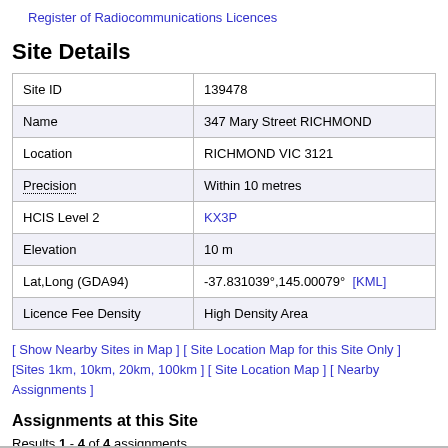Register of Radiocommunications Licences
Site Details
| Field | Value |
| --- | --- |
| Site ID | 139478 |
| Name | 347 Mary Street RICHMOND |
| Location | RICHMOND VIC 3121 |
| Precision | Within 10 metres |
| HCIS Level 2 | KX3P |
| Elevation | 10 m |
| Lat,Long (GDA94) | -37.831039°,145.00079°  [KML] |
| Licence Fee Density | High Density Area |
[ Show Nearby Sites in Map ] [ Site Location Map for this Site Only ] [Sites 1km, 10km, 20km, 100km ] [ Site Location Map ] [ Nearby Assignments ]
Assignments at this Site
Results 1 - 4 of 4 assignments.